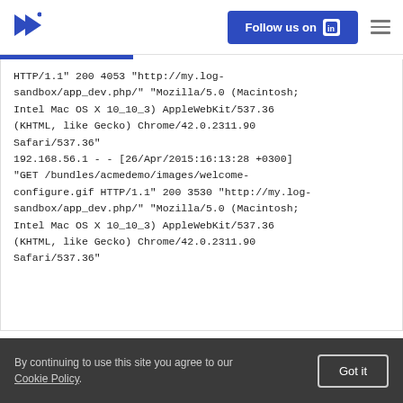[Figure (logo): Blue arrow logo icon pointing right]
[Figure (other): Follow us on LinkedIn button (blue) and hamburger menu icon]
HTTP/1.1" 200 4053 "http://my.log-sandbox/app_dev.php/" "Mozilla/5.0 (Macintosh; Intel Mac OS X 10_10_3) AppleWebKit/537.36 (KHTML, like Gecko) Chrome/42.0.2311.90 Safari/537.36"
192.168.56.1 - - [26/Apr/2015:16:13:28 +0300] "GET /bundles/acmedemo/images/welcome-configure.gif HTTP/1.1" 200 3530 "http://my.log-sandbox/app_dev.php/" "Mozilla/5.0 (Macintosh; Intel Mac OS X 10_10_3) AppleWebKit/537.36 (KHTML, like Gecko) Chrome/42.0.2311.90 Safari/537.36"
By continuing to use this site you agree to our Cookie Policy.